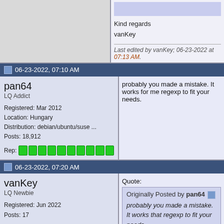Kind regards
vanKey
Last edited by vanKey; 06-23-2022 at 07:13 AM.
06-23-2022, 07:10 AM
pan64
LQ Addict
Registered: Mar 2012
Location: Hungary
Distribution: debian/ubuntu/suse ...
Posts: 18,912
Rep:
probably you made a mistake. It works for me regexp to fit your needs.
06-23-2022, 07:20 AM
vanKey
LQ Newbie
Registered: Jun 2022
Posts: 17
Original Poster
Rep:
Quote:
Originally Posted by pan64
probably you made a mistake. It works that regexp to fit your needs.
yeah, i changed my post to the following: